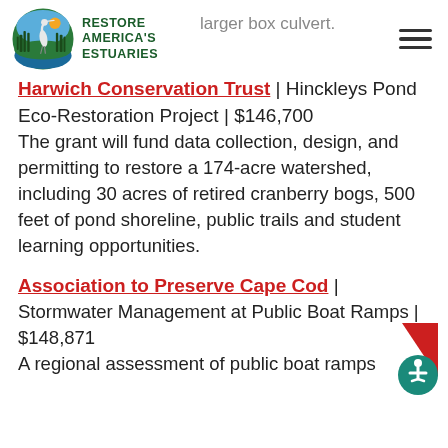larger box culvert.
[Figure (logo): Restore America's Estuaries circular logo with heron and marsh scene]
Harwich Conservation Trust | Hinckleys Pond Eco-Restoration Project | $146,700
The grant will fund data collection, design, and permitting to restore a 174-acre watershed, including 30 acres of retired cranberry bogs, 500 feet of pond shoreline, public trails and student learning opportunities.
Association to Preserve Cape Cod | Stormwater Management at Public Boat Ramps | $148,871
A regional assessment of public boat ramps